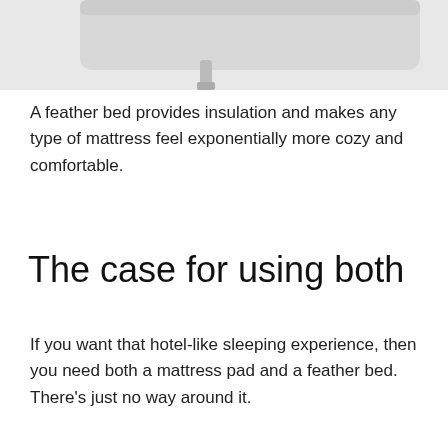[Figure (photo): Partial view of a white mattress pad or feather bed on a bed frame, cropped at top of page]
A feather bed provides insulation and makes any type of mattress feel exponentially more cozy and comfortable.
The case for using both
If you want that hotel-like sleeping experience, then you need both a mattress pad and a feather bed. There's just no way around it.